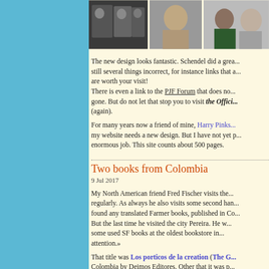[Figure (photo): Three black and white / color photographs of people arranged in a horizontal row at the top of the right panel]
The new design looks fantastic. Schendel did a great job. There are still several things incorrect, for instance links that are worth your visit! There is even a link to the PJF Forum that does no... gone. But do not let that stop you to visit the Offici... (again).
For many years now a friend of mine, Harry Pinks... my website needs a new design. But I have not yet p... enormous job. This site counts about 500 pages.
Two books from Colombia
9 Jul 2017
My North American friend Fred Fischer visits the... regularly. As always he also visits some second han... found any translated Farmer books, published in Co... But the last time he visited the city Pereira. He w... some used SF books at the oldest bookstore in... attention.»
That title was Los porticos de la creation (The G... Colombia by Deimos Editores. Other that it was p...